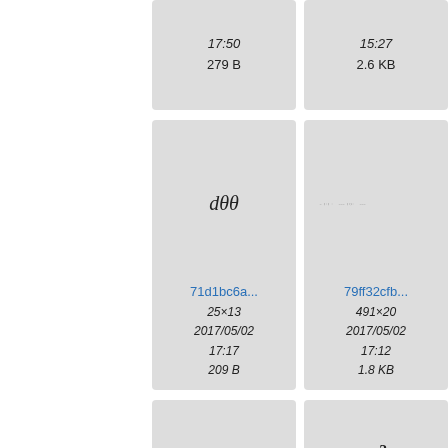[Figure (screenshot): File thumbnail grid showing math formula images with metadata. Top row shows two partial cells with times 17:50/279B and 15:27/2.6KB. Middle row: cell with dθθ formula (71d1bc6a, 25×13, 2017/05/02, 17:17, 209B) and cell with text formula image (79ff32cfb, 491×20, 2017/05/02, 17:12, 1.8KB) and partial third cell (80...). Bottom row: cell with h(x)=integral formula (83c9fbc8, 136×39, 2016/01/26, 11:04) and cell with x² formula (89a5720b, 15×15, 2017/05/02, 17:11) and partial third cell (92...).]